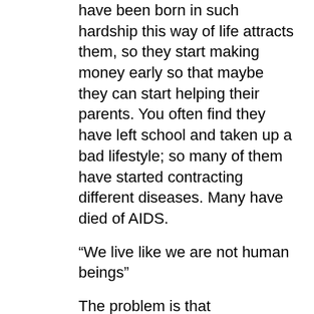have been born in such hardship this way of life attracts them, so they start making money early so that maybe they can start helping their parents. You often find they have left school and taken up a bad lifestyle; so many of them have started contracting different diseases. Many have died of AIDS.
“We live like we are not human beings”
The problem is that